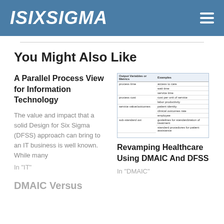ISIXSIGMA
You Might Also Like
A Parallel Process View for Information Technology
The value and impact that a solid Design for Six Sigma (DFSS) approach can bring to an IT business is well known. While many
In "IT"
[Figure (table-as-image): A small table showing Output Variables or Metrics with Examples columns, listing process time, process cost, service value, and sub-standard output categories.]
Revamping Healthcare Using DMAIC And DFSS
In "DMAIC"
DMAIC Versus